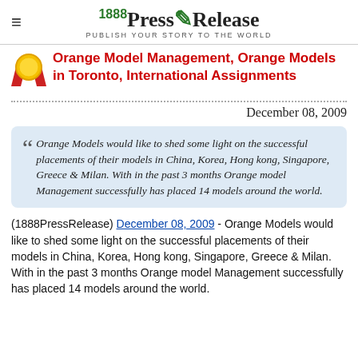1888 PressRelease — PUBLISH YOUR STORY TO THE WORLD
Orange Model Management, Orange Models in Toronto, International Assignments
December 08, 2009
Orange Models would like to shed some light on the successful placements of their models in China, Korea, Hong kong, Singapore, Greece & Milan. With in the past 3 months Orange model Management successfully has placed 14 models around the world.
(1888PressRelease) December 08, 2009 - Orange Models would like to shed some light on the successful placements of their models in China, Korea, Hong kong, Singapore, Greece & Milan. With in the past 3 months Orange model Management successfully has placed 14 models around the world.